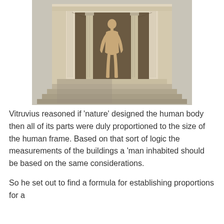[Figure (illustration): Classical architectural illustration showing a Greek or Roman temple portico with columns and steps, with a nude male figure standing centrally between the columns, referencing Vitruvius's study of human proportions in relation to architecture.]
Vitruvius reasoned if 'nature' designed the human body then all of its parts were duly proportioned to the size of the human frame. Based on that sort of logic the measurements of the buildings a 'man inhabited should be based on the same considerations.
So he set out to find a formula for establishing proportions for a